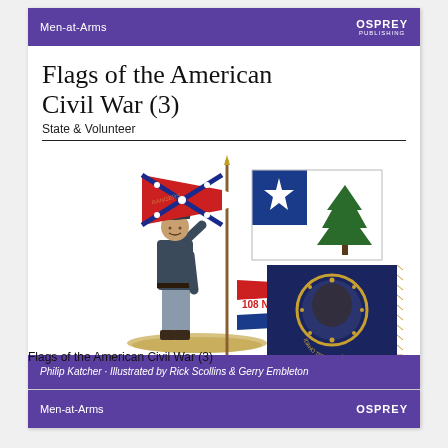Men-at-Arms | Osprey Publishing
Flags of the American Civil War (3)
State & Volunteer
[Figure (illustration): Cover illustration showing a Civil War soldier holding a flag pole, with several Civil War era flags: a Confederate battle flag, a Maine state flag (star and pine tree on blue canton), a 108 N.Y.V. regimental flag, and a dark blue flag with circular seal]
Philip Katcher · Illustrated by Rick Scollins & Gerry Embleton
Flags of the American Civil War (3)
Men-at-Arms | Osprey